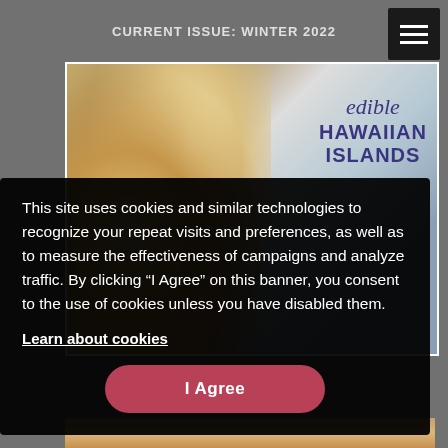CURRENT ISSUE: WINTER 2022
[Figure (photo): Magazine cover for edible Hawaiian Islands showing colorful food arrangement with flowers and citrus, with the title 'edible HAWAIIAN ISLANDS' in blue text on the right side]
This site uses cookies and similar technologies to recognize your repeat visits and preferences, as well as to measure the effectiveness of campaigns and analyze traffic. By clicking “I Agree” on this banner, you consent to the use of cookies unless you have disabled them.
Learn about cookies
I Agree